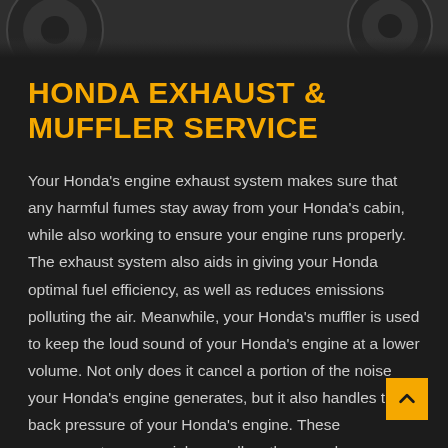[Figure (photo): Dark header image showing partial view of a Honda vehicle wheel and body, dark grey/black tones]
HONDA EXHAUST & MUFFLER SERVICE
Your Honda's engine exhaust system makes sure that any harmful fumes stay away from your Honda's cabin, while also working to ensure your engine runs properly. The exhaust system also aids in giving your Honda optimal fuel efficiency, as well as reduces emissions polluting the air. Meanwhile, your Honda's muffler is used to keep the loud sound of your Honda's engine at a lower volume. Not only does it cancel a portion of the noise your Honda's engine generates, but it also handles the back pressure of your Honda's engine. These components are crucial, as well as they are dangerous to have malfunct… If your Honda's muffler has a hole in it, it can leak carbon monoxide; and if your exhaust has any leaks, the quality of air in…